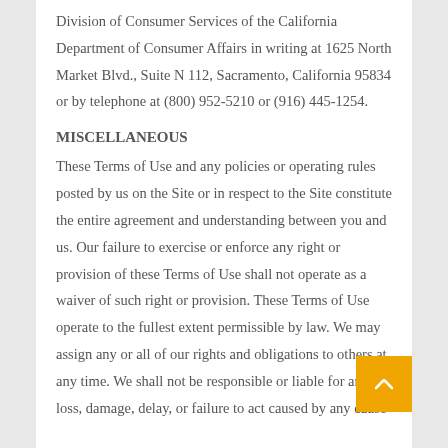Division of Consumer Services of the California Department of Consumer Affairs in writing at 1625 North Market Blvd., Suite N 112, Sacramento, California 95834 or by telephone at (800) 952-5210 or (916) 445-1254.
MISCELLANEOUS
These Terms of Use and any policies or operating rules posted by us on the Site or in respect to the Site constitute the entire agreement and understanding between you and us. Our failure to exercise or enforce any right or provision of these Terms of Use shall not operate as a waiver of such right or provision. These Terms of Use operate to the fullest extent permissible by law. We may assign any or all of our rights and obligations to others at any time. We shall not be responsible or liable for any loss, damage, delay, or failure to act caused by any cause